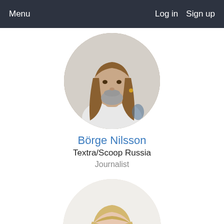Menu   Log in   Sign up
[Figure (photo): Circular profile photo of Börge Nilsson, a middle-aged man with long hair and beard]
Börge Nilsson
Textra/Scoop Russia
Journalist
[Figure (photo): Circular profile photo of a young blonde woman]